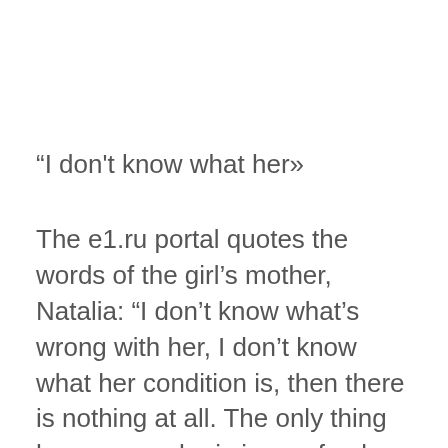“I don't know what her»
The e1.ru portal quotes the words of the girl’s mother, Natalia: “I don’t know what’s wrong with her, I don’t know what her condition is, then there is nothing at all. The only thing he says — she is in a safe place and needs nothing      Claims that this year she graduated from the first class. Only where she studies, I don't know».